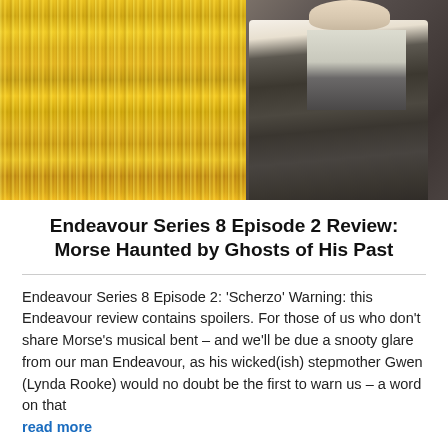[Figure (photo): A man in a suit and tie standing in front of gold tinsel/curtain decoration. The photo appears to be a still from a TV show, showing the actor in dim lighting with the gold metallic background.]
Endeavour Series 8 Episode 2 Review: Morse Haunted by Ghosts of His Past
Endeavour Series 8 Episode 2: ‘Scherzo’ Warning: this Endeavour review contains spoilers. For those of us who don’t share Morse’s musical bent – and we’ll be due a snooty glare from our man Endeavour, as his wicked(ish) stepmother Gwen (Lynda Rooke) would no doubt be the first to warn us – a word on that
read more